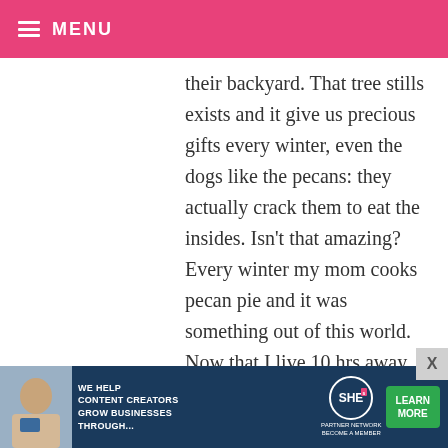≡ MENU
their backyard. That tree stills exists and it give us precious gifts every winter, even the dogs like the pecans: they actually crack them to eat the insides. Isn't that amazing? Every winter my mom cooks pecan pie and it was something out of this world. Now that I live 10 hrs away from my parents, I will make thse pies and take one to them as a surprise. I hope they like it, because I know I will. Thanks for sharing this recipe, and God bless your
[Figure (screenshot): Advertisement banner for SHE Media Partner Network with text 'WE HELP CONTENT CREATORS GROW BUSINESSES THROUGH...' and a LEARN MORE button]